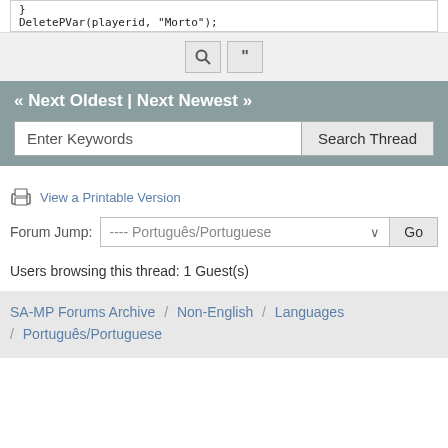}
DeletePVar(playerid, "Morto");
« Next Oldest | Next Newest »
Enter Keywords | Search Thread
View a Printable Version
Forum Jump: ---- Português/Portuguese  Go
Users browsing this thread: 1 Guest(s)
SA-MP Forums Archive / Non-English / Languages / Português/Portuguese